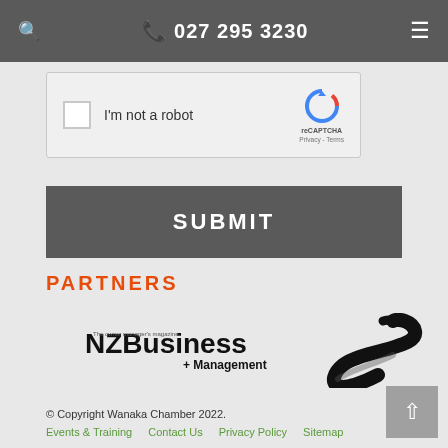027 295 3230
[Figure (screenshot): reCAPTCHA widget with 'I'm not a robot' checkbox]
SUBMIT
PARTNERS
[Figure (logo): NZBusiness + Management logo]
[Figure (logo): Zeald Z-shaped logo]
© Copyright Wanaka Chamber 2022.
Events & Training   Contact Us   Privacy Policy   Sitemap